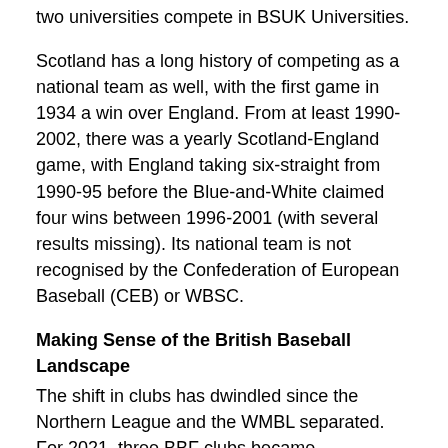two universities compete in BSUK Universities.
Scotland has a long history of competing as a national team as well, with the first game in 1934 a win over England. From at least 1990-2002, there was a yearly Scotland-England game, with England taking six-straight from 1990-95 before the Blue-and-White claimed four wins between 1996-2001 (with several results missing). Its national team is not recognised by the Confederation of European Baseball (CEB) or WBSC.
Making Sense of the British Baseball Landscape
The shift in clubs has dwindled since the Northern League and the WMBL separated. For 2021, three BBF clubs became independent (joining the WMBL) and five joined the BBF (all from the SWBL, now a BBF league). Furthermore, several clubs have teams affiliated to both